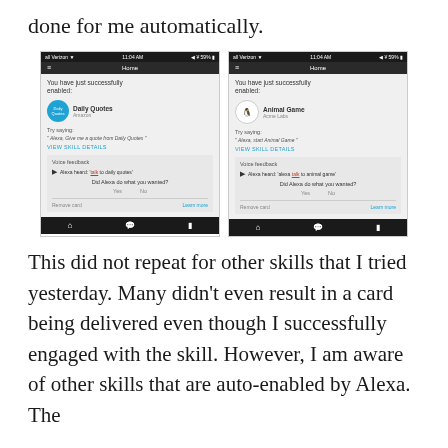done for me automatically.
[Figure (screenshot): Two side-by-side smartphone screenshots of the Alexa app showing skill enabled confirmations. Left screenshot shows Daily Quotes skill enabled with voice feedback 'Alexa heard: talk to daily quotes'. Right screenshot shows Animal Game skill enabled with voice feedback 'Alexa heard: alexa talk to animal game'.]
This did not repeat for other skills that I tried yesterday. Many didn't even result in a card being delivered even though I successfully engaged with the skill. However, I am aware of other skills that are auto-enabled by Alexa. The